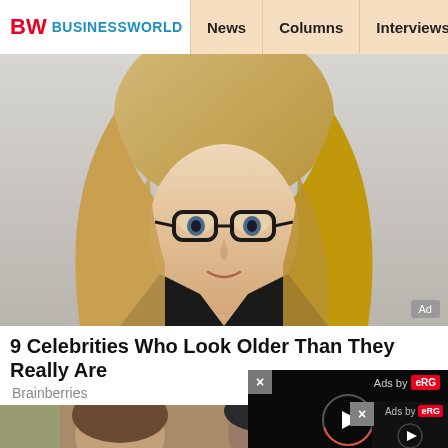BW BUSINESSWORLD | News | Columns | Interviews | BW
[Figure (photo): Blonde woman with glasses wearing black, promotional or editorial photo]
9 Celebrities Who Look Older Than They Really Are
Brainberries
[Figure (photo): Two people taking a selfie outdoors, with a video ad overlay showing play button and 'Ads by eRG' label]